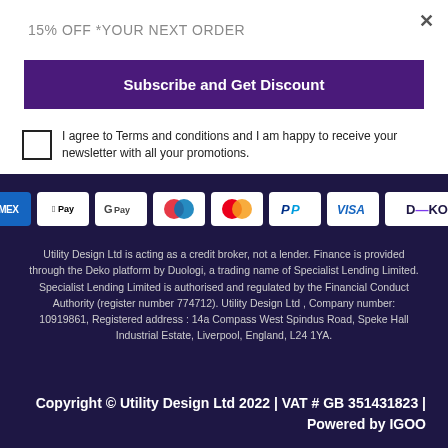15% OFF *YOUR NEXT ORDER
Subscribe and Get Discount
I agree to Terms and conditions and I am happy to receive your newsletter with all your promotions.
[Figure (logo): Payment method icons: Amex, Apple Pay, Google Pay, Maestro, Mastercard, PayPal, Visa, Deko]
Utility Design Ltd is acting as a credit broker, not a lender. Finance is provided through the Deko platform by Duologi, a trading name of Specialist Lending Limited. Specialist Lending Limited is authorised and regulated by the Financial Conduct Authority (register number 774712). Utility Design Ltd , Company number: 10919861, Registered address : 14a Compass West Spindus Road, Speke Hall Industrial Estate, Liverpool, England, L24 1YA.
Copyright © Utility Design Ltd 2022 | VAT # GB 351431823 | Powered by IGOO